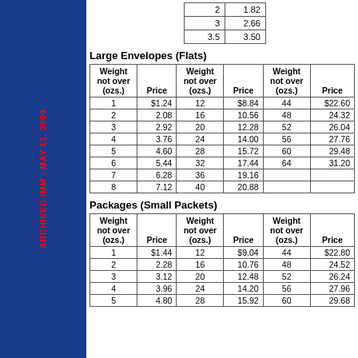| Weight not over (ozs.) | Price |
| --- | --- |
| 2 | 1.82 |
| 3 | 2.66 |
| 3.5 | 3.50 |
Large Envelopes (Flats)
| Weight not over (ozs.) | Price | Weight not over (ozs.) | Price | Weight not over (ozs.) | Price |
| --- | --- | --- | --- | --- | --- |
| 1 | $1.24 | 12 | $8.84 | 44 | $22.60 |
| 2 | 2.08 | 16 | 10.56 | 48 | 24.32 |
| 3 | 2.92 | 20 | 12.28 | 52 | 26.04 |
| 4 | 3.76 | 24 | 14.00 | 56 | 27.76 |
| 5 | 4.60 | 28 | 15.72 | 60 | 29.48 |
| 6 | 5.44 | 32 | 17.44 | 64 | 31.20 |
| 7 | 6.28 | 36 | 19.16 |  |  |
| 8 | 7.12 | 40 | 20.88 |  |  |
Packages (Small Packets)
| Weight not over (ozs.) | Price | Weight not over (ozs.) | Price | Weight not over (ozs.) | Price |
| --- | --- | --- | --- | --- | --- |
| 1 | $1.44 | 12 | $9.04 | 44 | $22.80 |
| 2 | 2.28 | 16 | 10.76 | 48 | 24.52 |
| 3 | 3.12 | 20 | 12.48 | 52 | 26.24 |
| 4 | 3.96 | 24 | 14.20 | 56 | 27.96 |
| 5 | 4.80 | 28 | 15.92 | 60 | 29.68 |